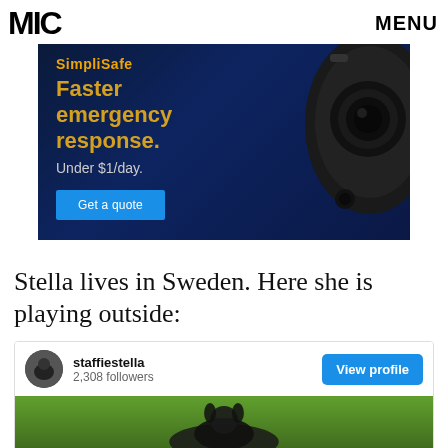MIC   MENU
[Figure (photo): SimpliSafe advertisement banner with dark blue background showing a security camera on the right and text: SimpliSafe, Faster emergency response. Under $1/day. with a blue 'Get a quote' button.]
Stella lives in Sweden. Here she is playing outside:
[Figure (screenshot): Instagram embed card for user 'staffiestella' with 2,308 followers, a 'View profile' blue button, and a photo of a dog on green grass below.]